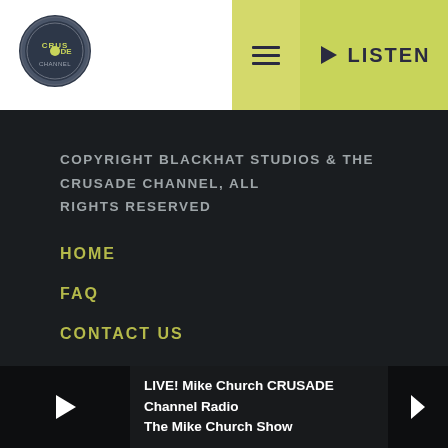[Figure (logo): Crusade Channel circular logo in dark blue/grey tones]
≡
▶ LISTEN
COPYRIGHT BLACKHAT STUDIOS & THE CRUSADE CHANNEL, ALL RIGHTS RESERVED
HOME
FAQ
CONTACT US
SCHEDULE
LIVE! Mike Church CRUSADE Channel Radio The Mike Church Show